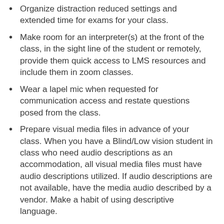Organize distraction reduced settings and extended time for exams for your class.
Make room for an interpreter(s) at the front of the class, in the sight line of the student or remotely, provide them quick access to LMS resources and include them in zoom classes.
Wear a lapel mic when requested for communication access and restate questions posed from the class.
Prepare visual media files in advance of your class. When you have a Blind/Low vision student in class who need audio descriptions as an accommodation, all visual media files must have audio descriptions utilized. If audio descriptions are not available, have the media audio described by a vendor. Make a habit of using descriptive language.
Agree to sign off on requests for audio or visual recordings of a class for the full inclusion of a student's accommodation need.